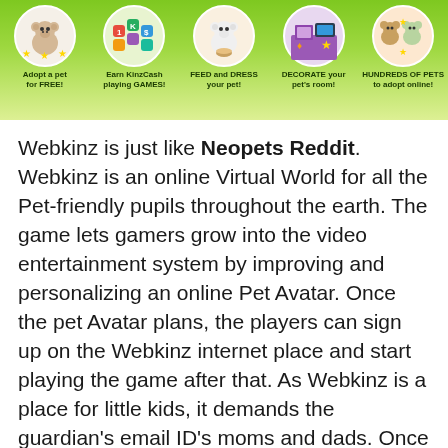[Figure (illustration): Webkinz promotional banner with green gradient background showing five circular icons of plush animals/toys with captions: Adopt a pet for FREE!, Earn KinzCash playing GAMES!, FEED and DRESS your pet!, DECORATE your pet's room!, HUNDREDS OF PETS to adopt online!]
Webkinz is just like Neopets Reddit. Webkinz is an online Virtual World for all the Pet-friendly pupils throughout the earth. The game lets gamers grow into the video entertainment system by improving and personalizing an online Pet Avatar. Once the pet Avatar plans, the players can sign up on the Webkinz internet place and start playing the game after that. As Webkinz is a place for little kids, it demands the guardian's email ID's moms and dads. Once all is installed, the players can get into the earth and delight in playing as a beautiful pet. The video game was initially introduced by a Canadian Toy Company named Ganz in 2005.